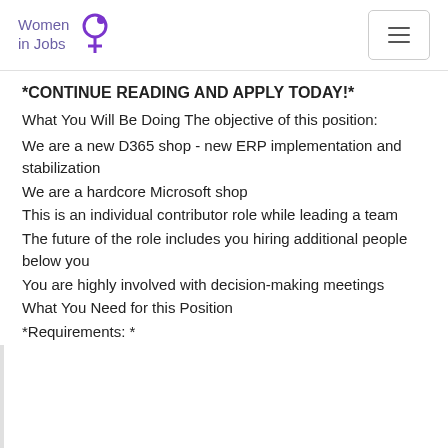Women in Jobs [logo]
*CONTINUE READING AND APPLY TODAY!*
What You Will Be Doing The objective of this position:
We are a new D365 shop - new ERP implementation and stabilization
We are a hardcore Microsoft shop
This is an individual contributor role while leading a team
The future of the role includes you hiring additional people below you
You are highly involved with decision-making meetings
What You Need for this Position
*Requirements: *